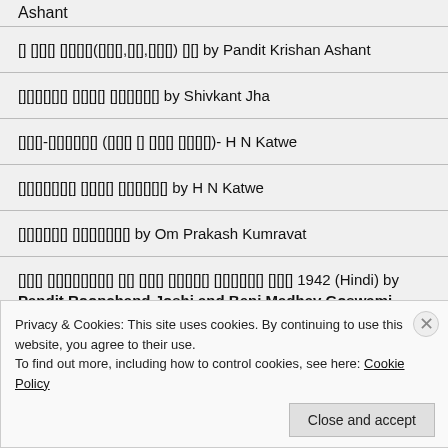Ashant
॥ तेरो नाम सुमिर(नाम,जो,नाम) ले by Pandit Krishan Ashant
मैथिली भजन संग्रह by Shivkant Jha
राम-रावण (धर्म व अधर्म युद्ध)- H N Katwe
रामायण भजन संग्रह by H N Katwe
भारत माता by Om Prakash Kumravat
भारत स्वतंत्रता के लिए क्रांति वर्णमाला गीत 1942 (Hindi) by Pandit Roopchand Joshi and Beni Madhav Goswami (1942)
Privacy & Cookies: This site uses cookies. By continuing to use this website, you agree to their use.
To find out more, including how to control cookies, see here: Cookie Policy
Close and accept